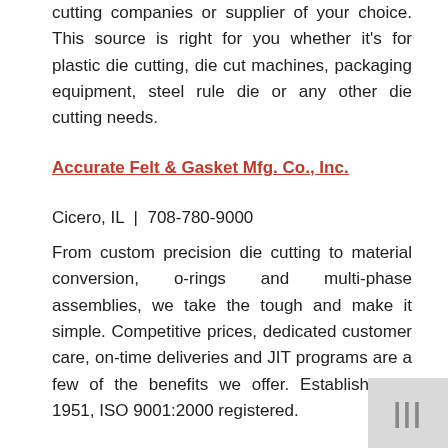cutting companies or supplier of your choice. This source is right for you whether it's for plastic die cutting, die cut machines, packaging equipment, steel rule die or any other die cutting needs.
Accurate Felt & Gasket Mfg. Co., Inc.
Cicero, IL  |  708-780-9000
From custom precision die cutting to material conversion, o-rings and multi-phase assemblies, we take the tough and make it simple. Competitive prices, dedicated customer care, on-time deliveries and JIT programs are a few of the benefits we offer. Established in 1951, ISO 9001:2000 registered.